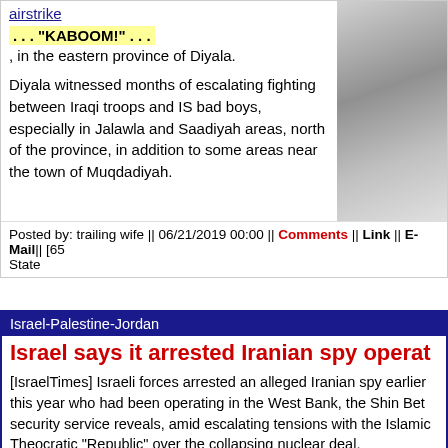airstrike
..."KABOOM!"...
, in the eastern province of Diyala.
Diyala witnessed months of escalating fighting between Iraqi troops and IS bad boys, especially in Jalawla and Saadiyah areas, north of the province, in addition to some areas near the town of Muqdadiyah.
[Figure (photo): Black and white photograph, partially visible on right side of article]
Posted by: trailing wife || 06/21/2019 00:00 || Comments || Link || E-Mail|| [65 State
Israel-Palestine-Jordan
Israel says it arrested Iranian spy operat
[IsraelTimes] Israeli forces arrested an alleged Iranian spy earlier this year who had been operating in the West Bank, the Shin Bet security service reveals, amid escalating tensions with the Islamic Theocratic "Republic" over the collapsing nuclear deal.